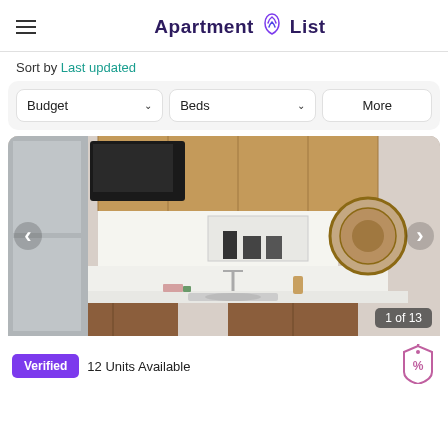Apartment List
Sort by Last updated
Budget  Beds  More
[Figure (photo): Interior photo of a modern apartment kitchen with wood cabinetry, white countertops, stainless steel appliances, and a decorative woven wall piece. Shows '1 of 13' image counter.]
Verified  12 Units Available